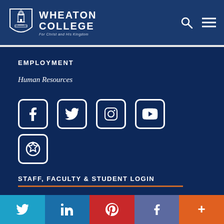[Figure (logo): Wheaton College logo with shield and text 'WHEATON COLLEGE For Christ and His Kingdom']
EMPLOYMENT
Human Resources
[Figure (infographic): Social media icons row 1: Facebook, Twitter, Instagram, YouTube; row 2: Glassdoor/badge icon]
STAFF, FACULTY & STUDENT LOGIN
ALUMNI DIRECTORY
[Figure (infographic): Bottom social share bar with Twitter, LinkedIn, Pinterest, Facebook, More (+) icons]